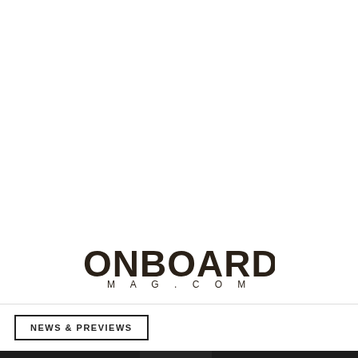[Figure (logo): ONBOARD MAG.COM logo in bold dark brown/black lettering]
NEWS & PREVIEWS
Cookies help us deliver our services. By using this website, you agree to our use of cookies. Learn More
SALOMO NEW 4-
HOME  SHARE  SEARCH  MENU